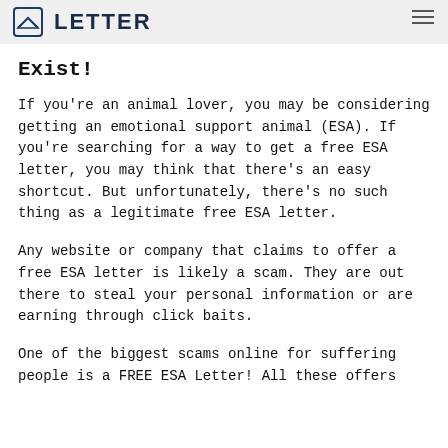LETTER
Exist!
If you're an animal lover, you may be considering getting an emotional support animal (ESA). If you're searching for a way to get a free ESA letter, you may think that there's an easy shortcut. But unfortunately, there's no such thing as a legitimate free ESA letter.
Any website or company that claims to offer a free ESA letter is likely a scam. They are out there to steal your personal information or are earning through click baits.
One of the biggest scams online for suffering people is a FREE ESA Letter! All these offers